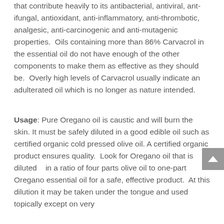that contribute heavily to its antibacterial, antiviral, ant-ifungal, antioxidant, anti-inflammatory, anti-thrombotic, analgesic, anti-carcinogenic and anti-mutagenic properties.  Oils containing more than 86% Carvacrol in the essential oil do not have enough of the other components to make them as effective as they should be.  Overly high levels of Carvacrol usually indicate an adulterated oil which is no longer as nature intended.
Usage: Pure Oregano oil is caustic and will burn the skin. It must be safely diluted in a good edible oil such as certified organic cold pressed olive oil. A certified organic product ensures quality.  Look for Oregano oil that is diluted   in a ratio of four parts olive oil to one-part Oregano essential oil for a safe, effective product.  At this dilution it may be taken under the tongue and used topically except on very